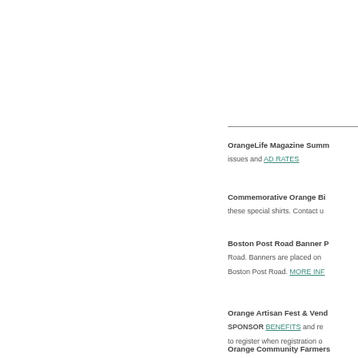OrangeLife Magazine Summ… issues and AD RATES
Commemorative Orange Bi… these special shirts. Contact u…
Boston Post Road Banner P… Road. Banners are placed on… Boston Post Road. MORE INF…
Orange Artisan Fest & Vend… SPONSOR BENEFITS and re… to register when registration o…
Orange Community Farmers…